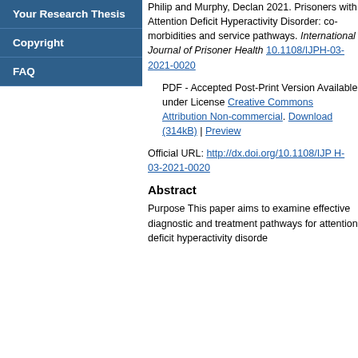Your Research Thesis
Copyright
FAQ
Philip and Murphy, Declan 2021. Prisoners with Attention Deficit Hyperactivity Disorder: co-morbidities and service pathways. International Journal of Prisoner Health 10.1108/IJPH-03-2021-0020
PDF - Accepted Post-Print Version Available under License Creative Commons Attribution Non-commercial. Download (314kB) | Preview
Official URL: http://dx.doi.org/10.1108/IJPH-03-2021-0020
Abstract
Purpose This paper aims to examine effective diagnostic and treatment pathways for attention deficit hyperactivity disorder